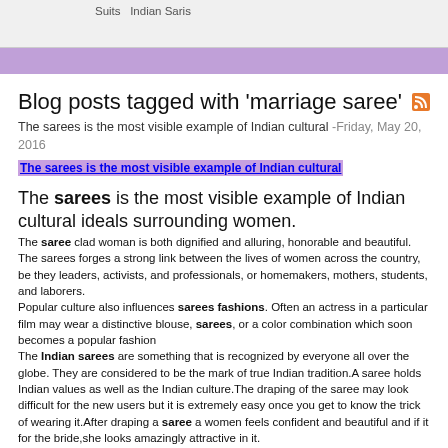Suits   Indian Saris
Blog posts tagged with 'marriage saree'
The sarees is the most visible example of Indian cultural -Friday, May 20, 2016
The sarees is the most visible example of Indian cultural
The sarees is the most visible example of Indian cultural ideals surrounding women.
The saree clad woman is both dignified and alluring, honorable and beautiful. The sarees forges a strong link between the lives of women across the country, be they leaders, activists, and professionals, or homemakers, mothers, students, and laborers.
Popular culture also influences sarees fashions. Often an actress in a particular film may wear a distinctive blouse, sarees, or a color combination which soon becomes a popular fashion
The Indian sarees are something that is recognized by everyone all over the globe. They are considered to be the mark of true Indian tradition.A saree holds Indian values as well as the Indian culture.The draping of the saree may look difficult for the new users but it is extremely easy once you get to know the trick of wearing it.After draping a saree a women feels confident and beautiful and if it for the bride,she looks amazingly attractive in it.
In India,you can find a wide variety of Designer Sarees Collection.From all parts of India,a different style of saree can be seen. They are made up of